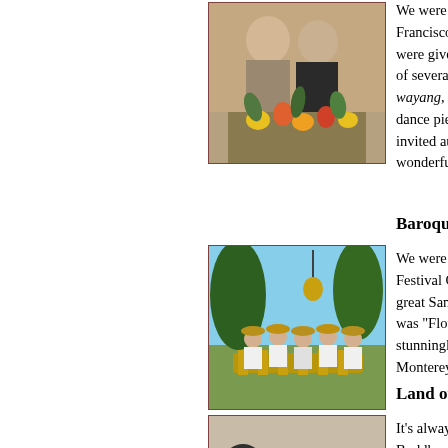[Figure (photo): Two women looking at colorful flowers and fruit display]
We were very excited to be in San Francisco as part of... were given the whole... of several styles of... wayang, our usual... dance pieces, and... invited audience m... wonderful day.
Baroque Festival
[Figure (photo): Group of people playing gamelan instruments outdoors under trees]
We were very happy... Festival Garden Pa... great Santa Cruz in... was "Flowers and ... stunningly beautif... Monterey Bay.
Land of Medicine
[Figure (photo): People in white clothing working with objects on a table]
It's always a great... Buddha. Again this... set in the lower are... the procession cam... hill, where it is unt...